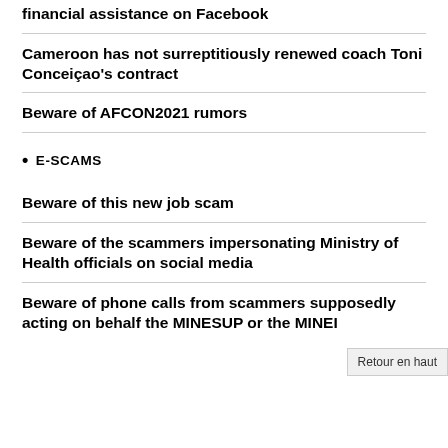financial assistance on Facebook
Cameroon has not surreptitiously renewed coach Toni Conceiçao's contract
Beware of AFCON2021 rumors
• E-SCAMS
Beware of this new job scam
Beware of the scammers impersonating Ministry of Health officials on social media
Beware of phone calls from scammers supposedly acting on behalf the MINESUP or the MINEI
Retour en haut